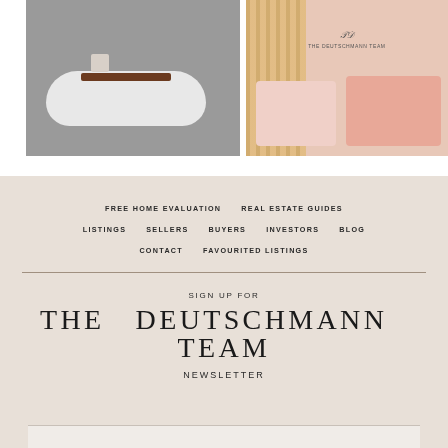[Figure (photo): Photo of a white freestanding bathtub with a wooden bath tray on top, in a grey-toned bathroom]
[Figure (photo): Photo of a pink and rose-toned bedroom with pillows, warm curtain/light at left, and The Deutschmann Team logo overlay]
FREE HOME EVALUATION
REAL ESTATE GUIDES
LISTINGS
SELLERS
BUYERS
INVESTORS
BLOG
CONTACT
FAVOURITED LISTINGS
SIGN UP FOR
THE  DEUTSCHMANN  TEAM
NEWSLETTER